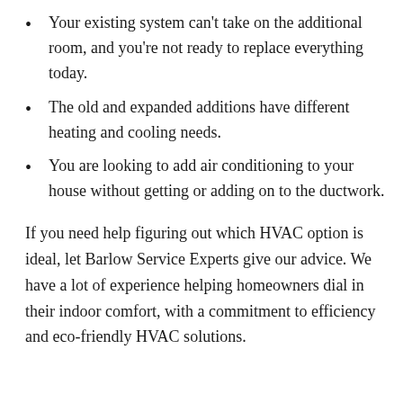Your existing system can't take on the additional room, and you're not ready to replace everything today.
The old and expanded additions have different heating and cooling needs.
You are looking to add air conditioning to your house without getting or adding on to the ductwork.
If you need help figuring out which HVAC option is ideal, let Barlow Service Experts give our advice. We have a lot of experience helping homeowners dial in their indoor comfort, with a commitment to efficiency and eco-friendly HVAC solutions.